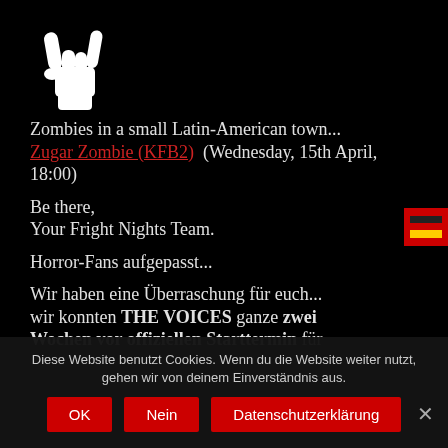[Figure (illustration): White hand making rock/devil horns gesture on black background — website logo]
Zombies in a small Latin-American town... Zugar Zombie (KFB2) (Wednesday, 15th April, 18:00)
Be there,
Your Fright Nights Team.
Horror-Fans aufgepasst...
Wir haben eine Überraschung für euch... wir konnten THE VOICES ganze zwei Wochen vor offiziellen Starttermin für
Diese Website benutzt Cookies. Wenn du die Website weiter nutzt, gehen wir von deinem Einverständnis aus.